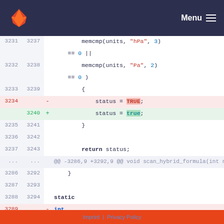GitLab — Menu
Code diff showing lines 3231-3289, with changes from TRUE to true and static int isHybridSigmaPressureCoordinate function
Imprint | Privacy Policy